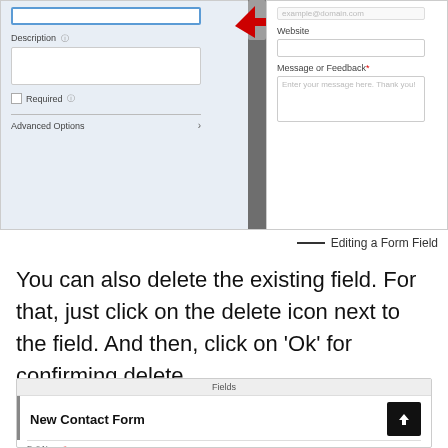[Figure (screenshot): Screenshot of a form editor interface showing Description field, Required checkbox, Advanced Options on the left panel, and Website field, Message or Feedback field on the right panel, with a red arrow pointing to the top of the left panel]
Editing a Form Field
You can also delete the existing field. For that, just click on the delete icon next to the field. And then, click on ‘Ok’ for confirming delete.
[Figure (screenshot): Screenshot of form fields panel showing 'Fields' header, 'New Contact Form' row with upload button, a divider, and 'Full Name*' label at the bottom]